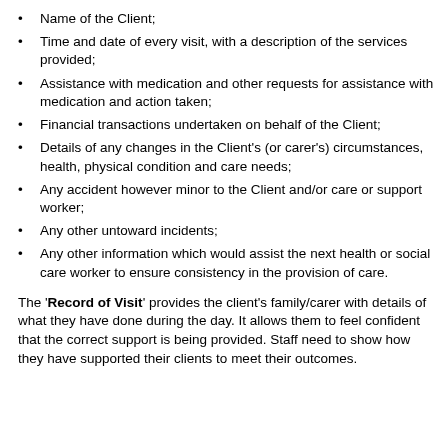Name of the Client;
Time and date of every visit, with a description of the services provided;
Assistance with medication and other requests for assistance with medication and action taken;
Financial transactions undertaken on behalf of the Client;
Details of any changes in the Client's (or carer's) circumstances, health, physical condition and care needs;
Any accident however minor to the Client and/or care or support worker;
Any other untoward incidents;
Any other information which would assist the next health or social care worker to ensure consistency in the provision of care.
The 'Record of Visit' provides the client's family/carer with details of what they have done during the day. It allows them to feel confident that the correct support is being provided. Staff need to show how they have supported their clients to meet their outcomes.